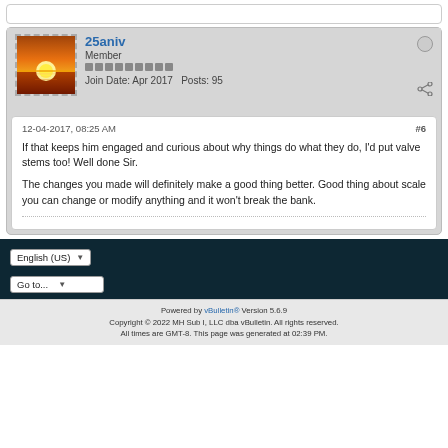[Figure (screenshot): Forum post stub at top (partial)]
[Figure (photo): User avatar: sunset over water with orange/yellow sky]
25aniv Member Join Date: Apr 2017 Posts: 95
12-04-2017, 08:25 AM #6
If that keeps him engaged and curious about why things do what they do, I'd put valve stems too! Well done Sir.

The changes you made will definitely make a good thing better. Good thing about scale you can change or modify anything and it won't break the bank.
English (US) Go to... Powered by vBulletin® Version 5.6.9 Copyright © 2022 MH Sub I, LLC dba vBulletin. All rights reserved. All times are GMT-8. This page was generated at 02:39 PM.